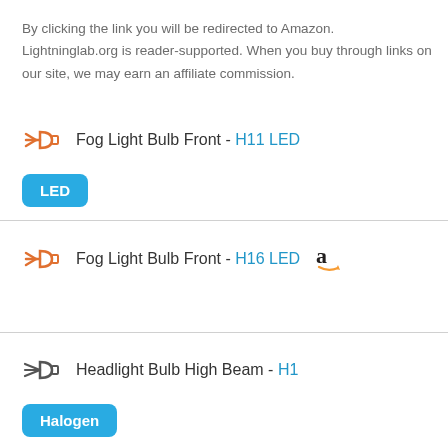By clicking the link you will be redirected to Amazon. Lightninglab.org is reader-supported. When you buy through links on our site, we may earn an affiliate commission.
Fog Light Bulb Front - H11 LED [LED badge]
Fog Light Bulb Front - H16 LED [Amazon link]
Headlight Bulb High Beam - H1 [Halogen badge]